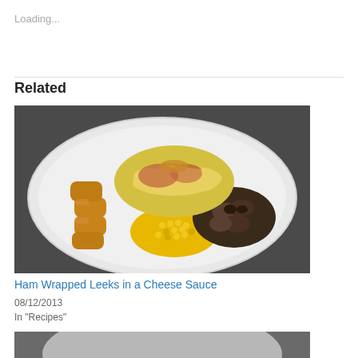Loading...
Related
[Figure (photo): A white plate with ham wrapped leeks in cheese sauce, tater tots/croquettes, corn kernels, and sauteed mushrooms on a dark countertop.]
Ham Wrapped Leeks in a Cheese Sauce
08/12/2013
In "Recipes"
[Figure (photo): Partial view of another food photo at the bottom of the page.]